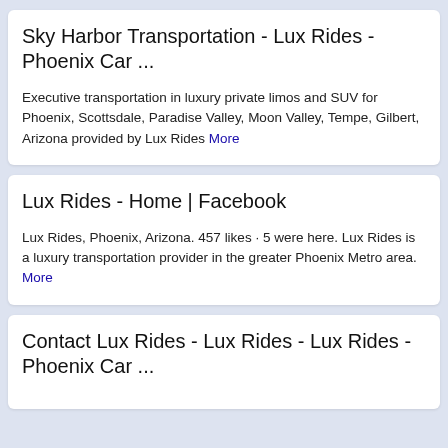Sky Harbor Transportation - Lux Rides - Phoenix Car ...
Executive transportation in luxury private limos and SUV for Phoenix, Scottsdale, Paradise Valley, Moon Valley, Tempe, Gilbert, Arizona provided by Lux Rides More
Lux Rides - Home | Facebook
Lux Rides, Phoenix, Arizona. 457 likes · 5 were here. Lux Rides is a luxury transportation provider in the greater Phoenix Metro area. More
Contact Lux Rides - Lux Rides - Lux Rides - Phoenix Car ...